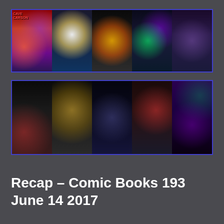[Figure (photo): A horizontal collage of 5 comic book cover/interior images in a row with blue border. Includes Cave Carson has a Cybernetic Eye (psychedelic red/purple), a white glowing superhero figure, a motorcycle with fire explosion, green lantern energy effects, and an indoor scene with characters.]
[Figure (photo): A horizontal collage of 5 comic book interior/cover images in a row with blue border. Images include a dark doorway scene with hooded figure, a villain with golden orb-like objects and candlelight, two characters facing close together in dark setting, a red/blue caped figure confrontation, and Superman-like figure lying down with villain in purple background.]
Recap – Comic Books 193 June 14 2017